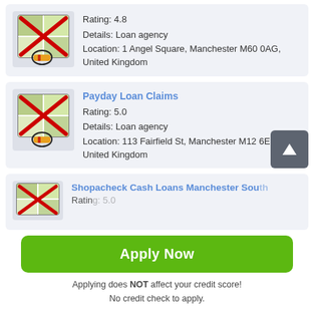[Figure (screenshot): Map icon with red X overlay for first listing]
Rating: 4.8
Details: Loan agency
Location: 1 Angel Square, Manchester M60 0AG, United Kingdom
[Figure (screenshot): Map icon with red X overlay for Payday Loan Claims]
Payday Loan Claims
Rating: 5.0
Details: Loan agency
Location: 113 Fairfield St, Manchester M12 6EL, United Kingdom
[Figure (screenshot): Map icon with red X overlay for Shopacheck Cash Loans Manchester South]
Shopacheck Cash Loans Manchester South
Rating: 5.0
Apply Now
Applying does NOT affect your credit score!
No credit check to apply.